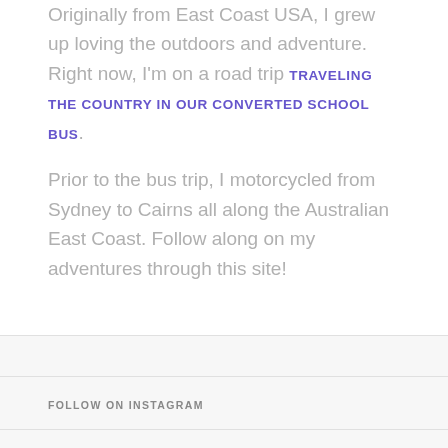Originally from East Coast USA, I grew up loving the outdoors and adventure. Right now, I'm on a road trip TRAVELING THE COUNTRY IN OUR CONVERTED SCHOOL BUS.
Prior to the bus trip, I motorcycled from Sydney to Cairns all along the Australian East Coast. Follow along on my adventures through this site!
FOLLOW ON INSTAGRAM
SUBSCRIBE TO MY BLOG
Sign up to follow along on my adventures!